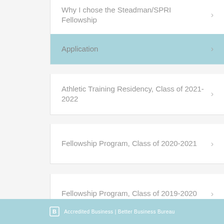Why I chose the Steadman/SPRI Fellowship
Application
Athletic Training Residency, Class of 2021-2022
Fellowship Program, Class of 2020-2021
Fellowship Program, Class of 2019-2020
Accredited Business | Better Business Bureau